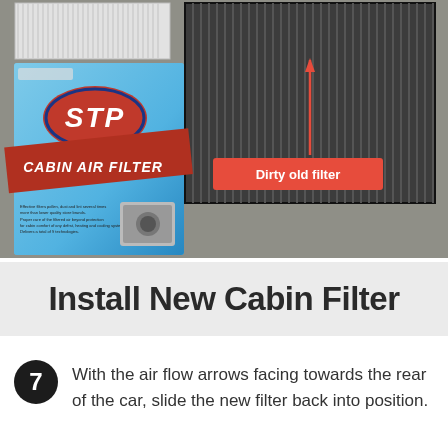[Figure (photo): Photo showing STP Cabin Air Filter box, a new white pleated filter, and a dirty old dark cabin air filter laid on a gray surface. A red arrow annotation points to the old filter labeled 'Dirty old filter'.]
Install New Cabin Filter
7  With the air flow arrows facing towards the rear of the car, slide the new filter back into position.